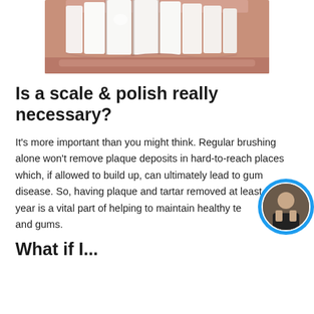[Figure (photo): Close-up photograph of a person's teeth and gums showing white upper teeth with pink gum tissue visible at the bottom]
Is a scale & polish really necessary?
It's more important than you might think. Regular brushing alone won't remove plaque deposits in hard-to-reach places which, if allowed to build up, can ultimately lead to gum disease. So, having plaque and tartar removed at least once a year is a vital part of helping to maintain healthy teeth and gums.
What if I...